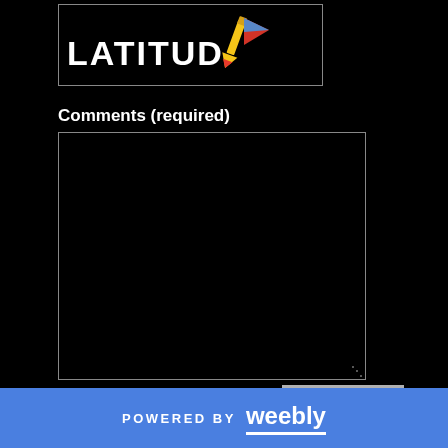[Figure (logo): LATITUD logo with colorful pencil/marker icon on black background with border box]
Comments (required)
[Figure (screenshot): Comments text area input box, black background with gray border]
Notify me of new comments to this post by email
SUBMIT
POWERED BY weebly